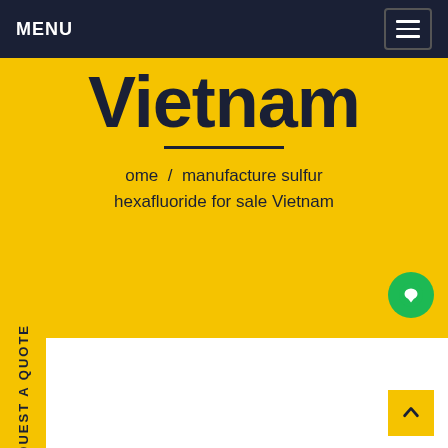MENU
Vietnam
ome / manufacture sulfur hexafluoride for sale Vietnam
REQUEST A QUOTE